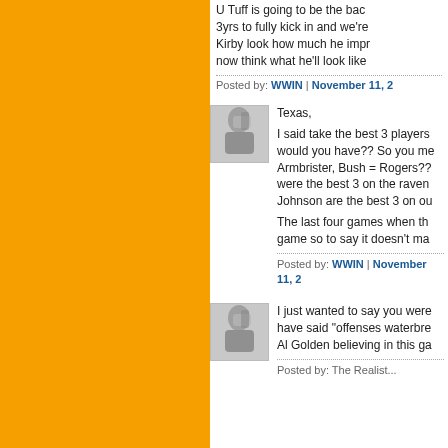[Figure (illustration): Orange sidebar occupying left ~47% of page]
U Tuff is going to be the back... 3yrs to fully kick in and we're... Kirby look how much he impr... now think what he'll look like
Posted by: WWIN | November 11, 2...
[Figure (photo): Avatar photo of a person holding something to their face]
Texas,

I said take the best 3 players... would you have?? So you me... Armbrister, Bush = Rogers??... were the best 3 on the raven... Johnson are the best 3 on ou...

The last four games when th... game so to say it doesn't ma...
Posted by: WWIN | November 11, 2...
[Figure (photo): Avatar photo of a person holding something to their face]
I just wanted to say you were... have said "offenses waterbre... Al Golden believing in this ga...
Posted by: The Realist...